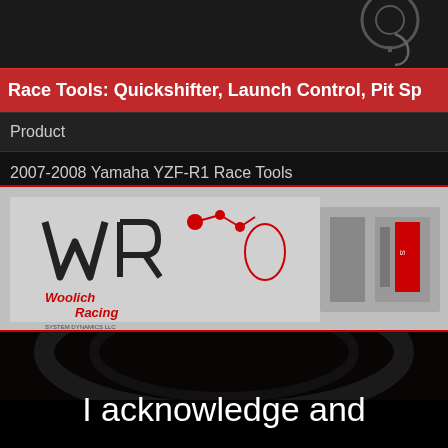[Figure (photo): Partial view of a mechanical component or tool at top of page, dark background]
Race Tools: Quickshifter, Launch Control, Pit Sp
| Product |
| --- |
| 2007-2008 Yamaha YZF-R1 Race Tools |
[Figure (photo): Woolich Racing logo on gray background with a motorcycle component/kit visible to the right]
[Figure (photo): Dark background image with a motorcycle wheel/tire visible, very dark overlay]
I acknowledge and